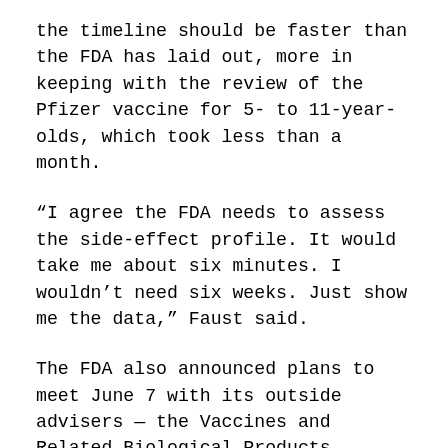the timeline should be faster than the FDA has laid out, more in keeping with the review of the Pfizer vaccine for 5- to 11-year-olds, which took less than a month.
“I agree the FDA needs to assess the side-effect profile. It would take me about six minutes. I wouldn’t need six weeks. Just show me the data,” Faust said.
The FDA also announced plans to meet June 7 with its outside advisers — the Vaccines and Related Biological Products Advisory Committee — to discuss an emergency authorization request for a coronavirus vaccine made by Novavax for people 18 and older. A vocal group of investors and some people who say they prefer the more